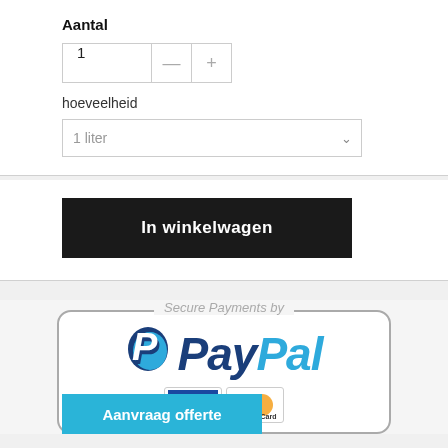Aantal
1
hoeveelheid
1 liter
In winkelwagen
[Figure (logo): Secure Payments by PayPal badge with VISA and MasterCard logos]
Aanvraag offerte